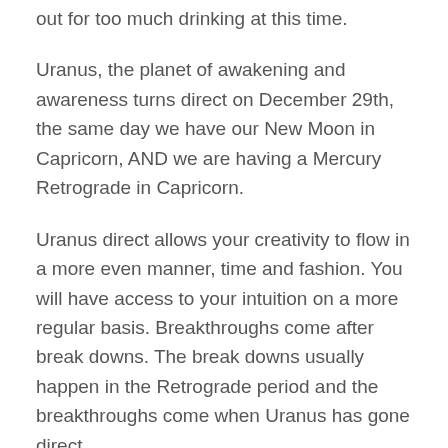out for too much drinking at this time.
Uranus, the planet of awakening and awareness turns direct on December 29th, the same day we have our New Moon in Capricorn, AND we are having a Mercury Retrograde in Capricorn.
Uranus direct allows your creativity to flow in a more even manner, time and fashion. You will have access to your intuition on a more regular basis. Breakthroughs come after break downs. The break downs usually happen in the Retrograde period and the breakthroughs come when Uranus has gone direct.
Take a look at all the important areas of your life. The emotional, mental, physical, spiritual, psychological and financial and where was there a break down in one of those areas. Now is the time to recognize which of those areas, and it may be more than one, needs to be changed. What action do you need to take in order to move forward and leave behind